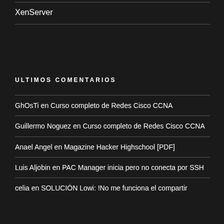XenServer
ULTIMOS COMENTARIOS
GhOsTi en Curso completo de Redes Cisco CCNA
Guillermo Noguez en Curso completo de Redes Cisco CCNA
Anael Angel en Magazine Hacker Highschool [PDF]
Luis Aljobin en PAC Manager inicia pero no conecta por SSH
celia en SOLUCIÓN Lowi: !No me funciona el compartir